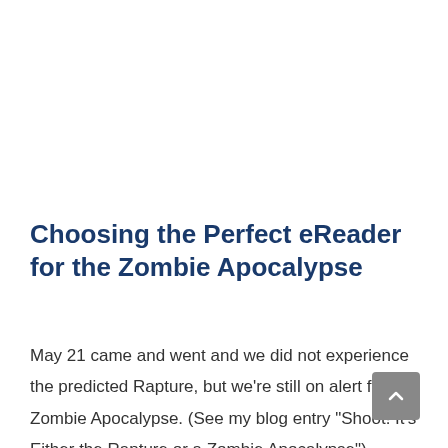Choosing the Perfect eReader for the Zombie Apocalypse
May 21 came and went and we did not experience the predicted Rapture, but we're still on alert for a Zombie Apocalypse. (See my blog entry "Shoot! It's Either the Rapture or a Zombie Apocalypse")